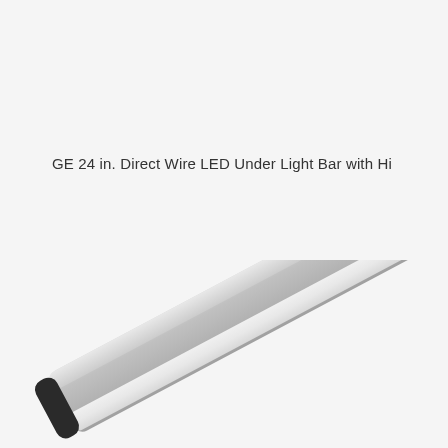GE 24 in. Direct Wire LED Under Light Bar with Hi
[Figure (photo): A silver/aluminum GE LED under-cabinet light bar shown at a diagonal angle. The bar is elongated and rectangular with rounded ends capped in black. A small control button or switch is visible on the surface. The fixture has a white diffuser panel on the underside.]